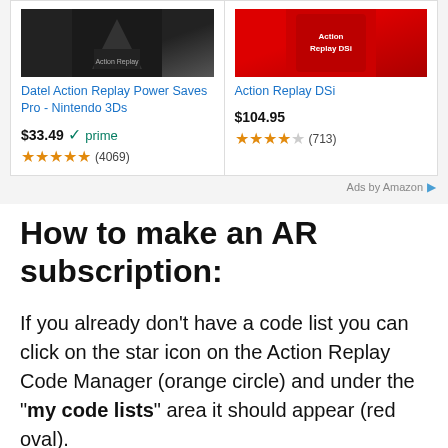[Figure (screenshot): Two Amazon product ad cards showing Action Replay gaming accessories with prices, star ratings, and review counts]
Ads by Amazon
How to make an AR subscription:
If you already don't have a code list you can click on the star icon on the Action Replay Code Manager (orange circle) and under the “my code lists” area it should appear (red oval).